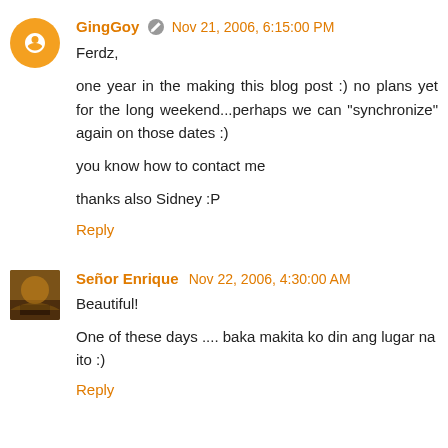GingGoy · Nov 21, 2006, 6:15:00 PM
Ferdz,

one year in the making this blog post :) no plans yet for the long weekend...perhaps we can "synchronize" again on those dates :)

you know how to contact me

thanks also Sidney :P
Reply
Señor Enrique  Nov 22, 2006, 4:30:00 AM
Beautiful!

One of these days .... baka makita ko din ang lugar na ito :)
Reply